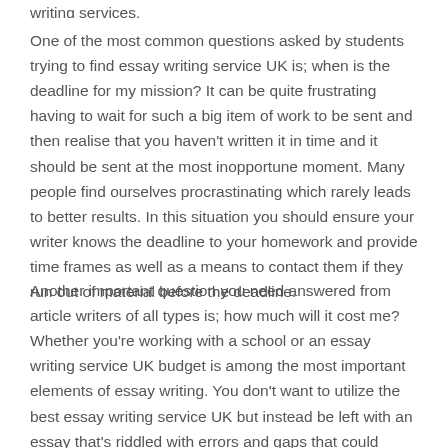writing services.
One of the most common questions asked by students trying to find essay writing service UK is; when is the deadline for my mission? It can be quite frustrating having to wait for such a big item of work to be sent and then realise that you haven't written it in time and it should be sent at the most inopportune moment. Many people find ourselves procrastinating which rarely leads to better results. In this situation you should ensure your writer knows the deadline to your homework and provide time frames as well as a means to contact them if they run out of material before the deadline.
Another important question you need answered from article writers of all types is; how much will it cost me? Whether you're working with a school or an essay writing service UK budget is among the most important elements of essay writing. You don't want to utilize the best essay writing service UK but instead be left with an essay that's riddled with errors and gaps that could